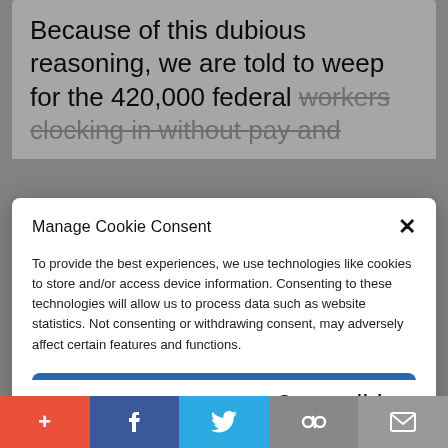Because of this dubious reasoning, we are told to weep for the 420,000 federal workers clocking in without pay and
Manage Cookie Consent
To provide the best experiences, we use technologies like cookies to store and/or access device information. Consenting to these technologies will allow us to process data such as website statistics. Not consenting or withdrawing consent, may adversely affect certain features and functions.
Accept
Cookie Policy  Privacy Policy
mortgage payments. Ostensibly, they